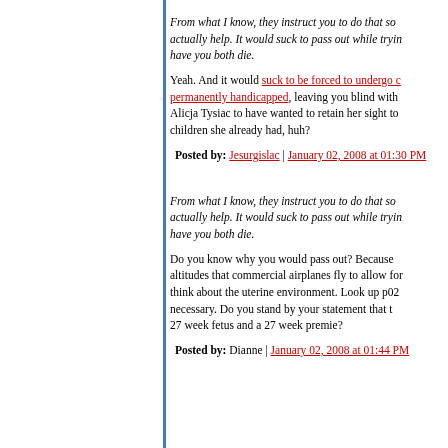From what I know, they instruct you to do that so [text continues off page] actually help. It would suck to pass out while tryin[g text continues] have you both die.
Yeah. And it would suck to be forced to undergo c[ontinues] permanently handicapped, leaving you blind with [continues] Alicja Tysiac to have wanted to retain her sight to [continues] children she already had, huh?
Posted by: Jesurgislac | January 02, 2008 at 01:30 PM
From what I know, they instruct you to do that so [text continues off page] actually help. It would suck to pass out while tryin[g text continues] have you both die.
Do you know why you would pass out? Because [text continues] altitudes that commercial airplanes fly to allow for [continues] think about the uterine environment. Look up p02 [continues] necessary. Do you stand by your statement that t[continues] 27 week fetus and a 27 week premie?
Posted by: Dianne | January 02, 2008 at 01:44 PM